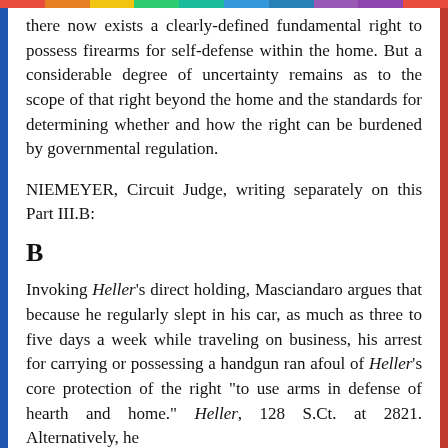there now exists a clearly-defined fundamental right to possess firearms for self-defense within the home. But a considerable degree of uncertainty remains as to the scope of that right beyond the home and the standards for determining whether and how the right can be burdened by governmental regulation.
NIEMEYER, Circuit Judge, writing separately on this Part III.B:
B
Invoking Heller's direct holding, Masciandaro argues that because he regularly slept in his car, as much as three to five days a week while traveling on business, his arrest for carrying or possessing a handgun ran afoul of Heller's core protection of the right "to use arms in defense of hearth and home." Heller, 128 S.Ct. at 2821. Alternatively, he